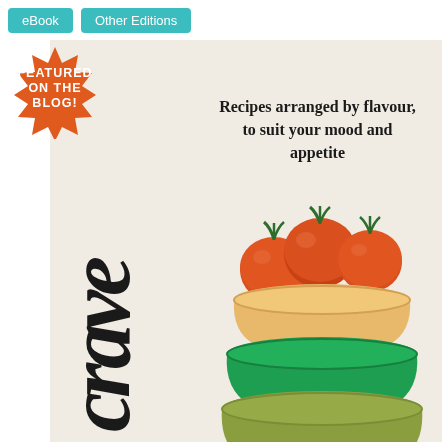[Figure (other): Two teal/cyan buttons labeled 'eBook' and 'Other Editions' at top left]
[Figure (illustration): Book cover for 'Crave: Recipes arranged by flavour, to suit your mood and appetite' featuring stacked bowls with tomatoes illustration on a cream background, with an orange 'Featured on the Blog!' badge]